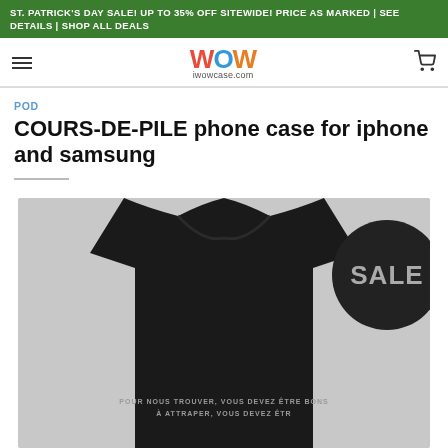ST. PATRICK'S DAY SALE! UP TO 35% OFF SITEWIDE! PRICE AS MARKED | SEE DETAILS | SHOP ALL DEALS
[Figure (logo): iWowCase.com logo with colorful WOW text and shopping cart icon]
POD
COURS-DE-PILE phone case for iphone and samsung
[Figure (photo): Black t-shirt product mockup showing French text on the back, with a dark circular SALE badge overlay in the bottom right corner]